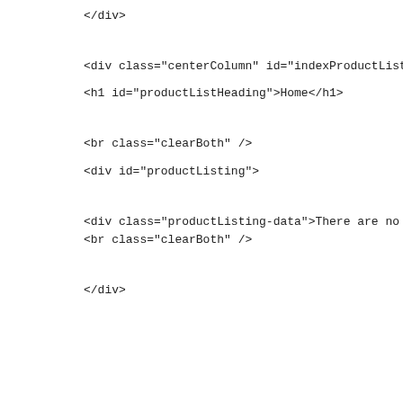</div>
<div class="centerColumn" id="indexProductList">
<h1 id="productListHeading">Home</h1>
<br class="clearBoth" />
<div id="productListing">
<div class="productListing-data">There are no products to list in this
<br class="clearBoth" />
</div>